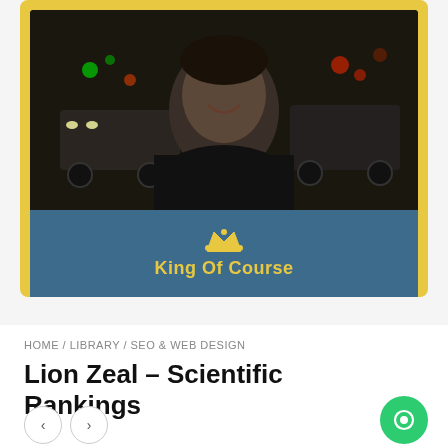[Figure (photo): Video thumbnail showing a young man smiling in a dark city nighttime background, displayed within a blue card with yellow border. The card has a 'King Of Course' brand label with crown icon at the bottom.]
HOME / LIBRARY / SEO & WEB DESIGN
Lion Zeal – Scientific Rankings